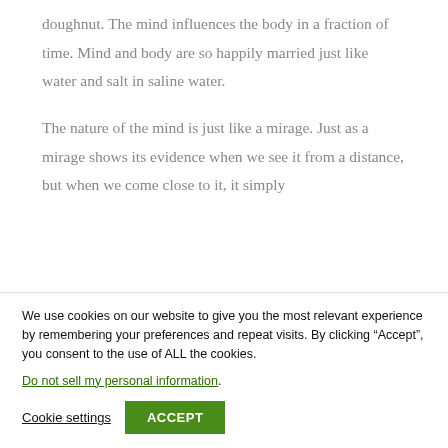doughnut. The mind influences the body in a fraction of time. Mind and body are so happily married just like water and salt in saline water.
The nature of the mind is just like a mirage. Just as a mirage shows its evidence when we see it from a distance, but when we come close to it, it simply
We use cookies on our website to give you the most relevant experience by remembering your preferences and repeat visits. By clicking “Accept”, you consent to the use of ALL the cookies.
Do not sell my personal information.
Cookie settings
ACCEPT